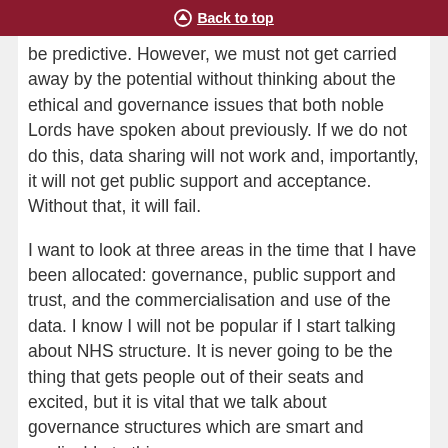Back to top
be predictive. However, we must not get carried away by the potential without thinking about the ethical and governance issues that both noble Lords have spoken about previously. If we do not do this, data sharing will not work and, importantly, it will not get public support and acceptance. Without that, it will fail.
I want to look at three areas in the time that I have been allocated: governance, public support and trust, and the commercialisation and use of the data. I know I will not be popular if I start talking about NHS structure. It is never going to be the thing that gets people out of their seats and excited, but it is vital that we talk about governance structures which are smart and applicable to this